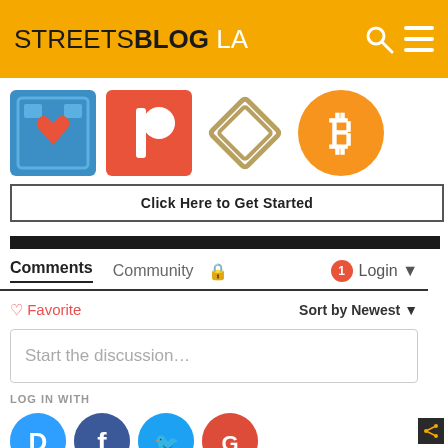STREETSBLOG LA
[Figure (logo): Four donation/support icons: blue health/love icon, red Patreon icon, gold SteemIt icon, orange Bitcoin icon]
Click Here to Get Started
Comments  Community  Login
Favorite  Sort by Newest
Start the discussion…
LOG IN WITH
[Figure (logo): Social login icons: Disqus (blue), Facebook (blue), Twitter (cyan), Google (red)]
OR SIGN UP WITH DISQUS ?